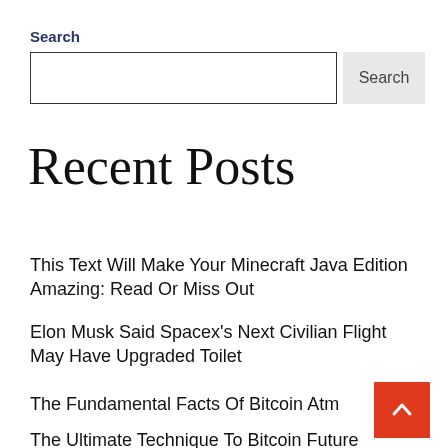Search
[Search input field and Search button]
Recent Posts
This Text Will Make Your Minecraft Java Edition Amazing: Read Or Miss Out
Elon Musk Said Spacex's Next Civilian Flight May Have Upgraded Toilet
The Fundamental Facts Of Bitcoin Atm
The Ultimate Technique To Bitcoin Future